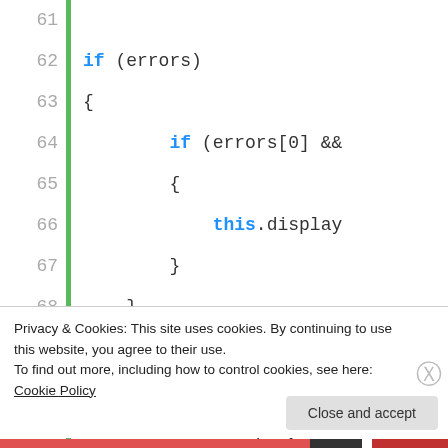[Figure (screenshot): Code editor screenshot showing JavaScript/TypeScript code lines 61-77. Lines show if/else block with this.display and this.displayToas calls, ending with a comment '// Enqueue the action' and '$A.enqueueAction(action);'. A green vertical bar separates line numbers from code.]
Privacy & Cookies: This site uses cookies. By continuing to use this website, you agree to their use.
To find out more, including how to control cookies, see here: Cookie Policy